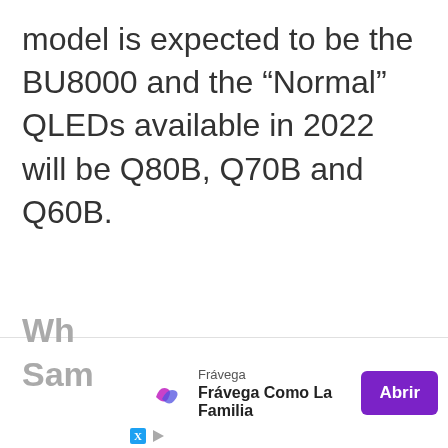model is expected to be the BU8000 and the “Normal” QLEDs available in 2022 will be Q80B, Q70B and Q60B.
Wh
Sam
[Figure (other): Advertisement banner: Frávega logo with swoosh icon, text 'Frávega Como La Familia', and purple 'Abrir' button]